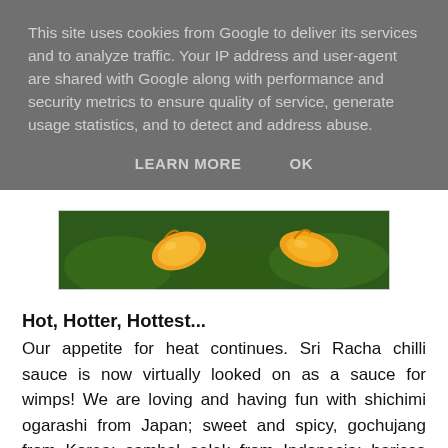This site uses cookies from Google to deliver its services and to analyze traffic. Your IP address and user-agent are shared with Google along with performance and security metrics to ensure quality of service, generate usage statistics, and to detect and address abuse.
LEARN MORE    OK
[Figure (photo): Close-up photo of orange/yellow chilli peppers against a dark green background]
Hot, Hotter, Hottest...
Our appetite for heat continues. Sri Racha chilli sauce is now virtually looked on as a sauce for wimps! We are loving and having fun with shichimi ogarashi from Japan; sweet and spicy, gochujang from Korea; sambal oelek from Indonesia; harissa from North Africa; tsire, a spice mixture from West Africa; zhoug a Yemeni green chilli sauce and spicy berbere from Ethiopia...